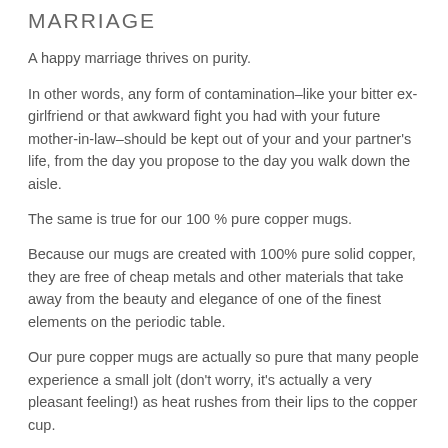MARRIAGE
A happy marriage thrives on purity.
In other words, any form of contamination–like your bitter ex-girlfriend or that awkward fight you had with your future mother-in-law–should be kept out of your and your partner's life, from the day you propose to the day you walk down the aisle.
The same is true for our 100 % pure copper mugs.
Because our mugs are created with 100% pure solid copper, they are free of cheap metals and other materials that take away from the beauty and elegance of one of the finest elements on the periodic table.
Our pure copper mugs are actually so pure that many people experience a small jolt (don't worry, it's actually a very pleasant feeling!) as heat rushes from their lips to the copper cup.